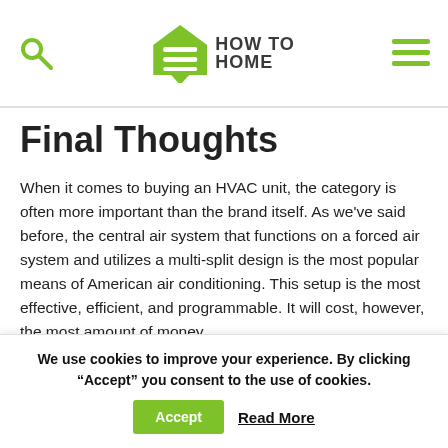HOW TO HOME (logo)
Final Thoughts
When it comes to buying an HVAC unit, the category is often more important than the brand itself. As we've said before, the central air system that functions on a forced air system and utilizes a multi-split design is the most popular means of American air conditioning. This setup is the most effective, efficient, and programmable. It will cost, however, the most amount of money.
We use cookies to improve your experience. By clicking “Accept” you consent to the use of cookies.